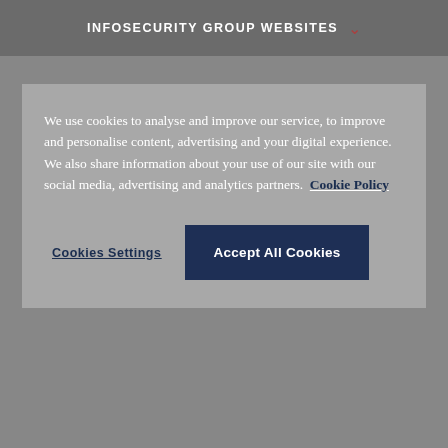INFOSECURITY GROUP WEBSITES
We use cookies to analyse and improve our service, to improve and personalise content, advertising and your digital experience. We also share information about your use of our site with our social media, advertising and analytics partners.  Cookie Policy
Cookies Settings
Accept All Cookies
Major e-music site hit by hackers
Premium pricing
What's Hot on Infosecurity Magazine?